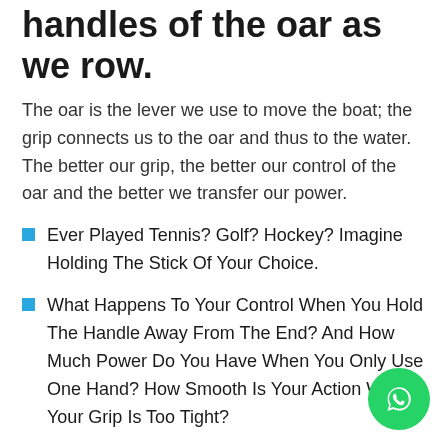Grip is the way we hold the handles of the oar as we row.
The oar is the lever we use to move the boat; the grip connects us to the oar and thus to the water. The better our grip, the better our control of the oar and the better we transfer our power.
Ever Played Tennis? Golf? Hockey? Imagine Holding The Stick Of Your Choice.
What Happens To Your Control When You Hold The Handle Away From The End? And How Much Power Do You Have When You Only Use One Hand? How Smooth Is Your Action When Your Grip Is Too Tight?
Just as your ball was sliced or hooked or merely dribbled when you wanted it to fly so to is it with rowing or sculling and a poor grip. We miss our connection with the water,